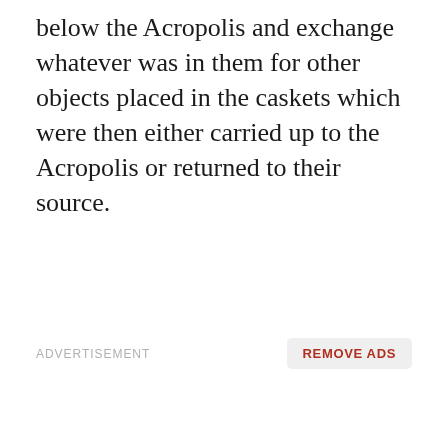below the Acropolis and exchange whatever was in them for other objects placed in the caskets which were then either carried up to the Acropolis or returned to their source.
ADVERTISEMENT
REMOVE ADS